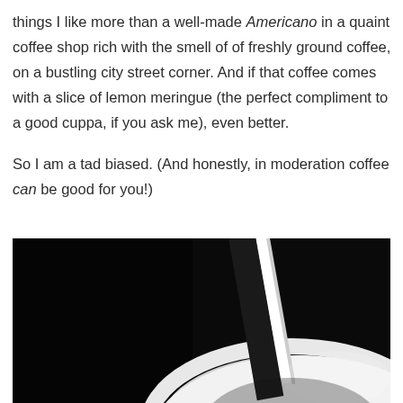things I like more than a well-made Americano in a quaint coffee shop rich with the smell of of freshly ground coffee, on a bustling city street corner. And if that coffee comes with a slice of lemon meringue (the perfect compliment to a good cuppa, if you ask me), even better.
So I am a tad biased. (And honestly, in moderation coffee can be good for you!)
[Figure (photo): Black and white close-up photograph of a white coffee cup and saucer with a spoon, dramatic dark background]